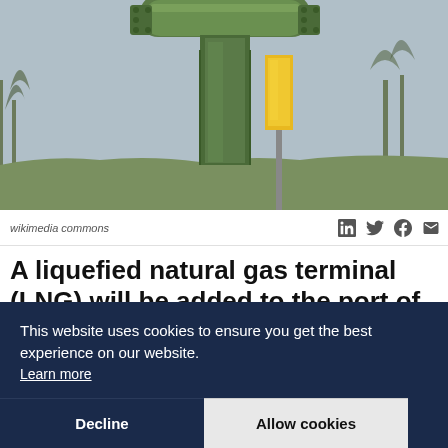[Figure (photo): Close-up photo of industrial gas pipe fittings/valves viewed from below against a sky background with trees and a yellow sign post visible]
wikimedia commons
A liquefied natural gas terminal (LNG) will be added to the port of Csepel on the Danube in the south of Budapest by the Energy Association for Gas-Fueled Transport (MGKKe) said, according to a report today by Hungarian news agency MTI.
This website uses cookies to ensure you get the best experience on our website. Learn more
Decline   Allow cookies